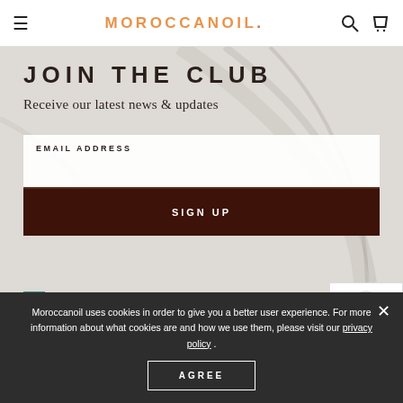MOROCCANOIL.
JOIN THE CLUB
Receive our latest news & updates
EMAIL ADDRESS
SIGN UP
I agree to receive Moroccanoil emails and I have read, understand and agree to be bound by the
Moroccanoil uses cookies in order to give you a better user experience. For more information about what cookies are and how we use them, please visit our privacy policy .
AGREE